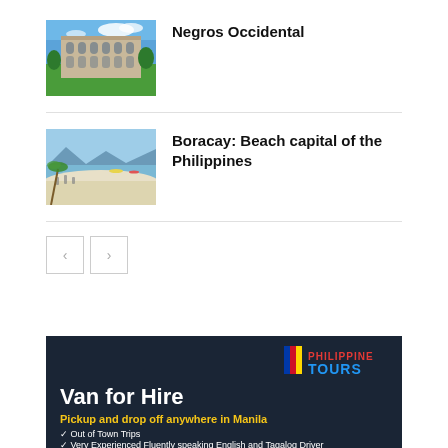[Figure (photo): Photo of a large colonial-era building with arched windows and green lawn, likely in Negros Occidental, Philippines]
Negros Occidental
[Figure (photo): Photo of Boracay beach with white sand, palm trees, and clear sky]
Boracay: Beach capital of the Philippines
[Figure (infographic): Philippine Tours advertisement banner: Van for Hire - Pickup and drop off anywhere in Manila. Out of Town Trips. Very Experienced Fluently speaking English and Tagalog Driver.]